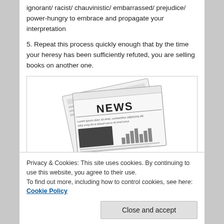ignorant/ racist/ chauvinistic/ embarrassed/ prejudice/ power-hungry to embrace and propagate your interpretation
5. Repeat this process quickly enough that by the time your heresy has been sufficiently refuted, you are selling books on another one.
[Figure (illustration): Illustration of a folded newspaper with the word NEWS prominently displayed on the front page, along with text columns and a bar chart graphic.]
Privacy & Cookies: This site uses cookies. By continuing to use this website, you agree to their use.
To find out more, including how to control cookies, see here: Cookie Policy